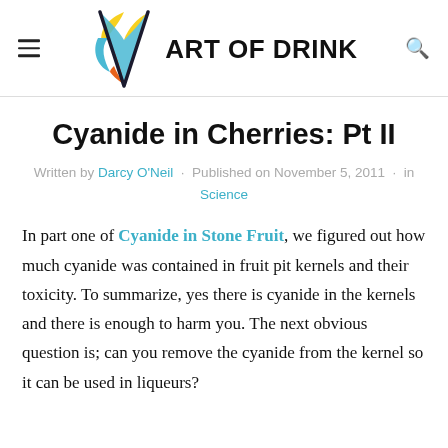ART OF DRINK
Cyanide in Cherries: Pt II
Written by Darcy O'Neil · Published on November 5, 2011 · in Science
In part one of Cyanide in Stone Fruit, we figured out how much cyanide was contained in fruit pit kernels and their toxicity. To summarize, yes there is cyanide in the kernels and there is enough to harm you. The next obvious question is; can you remove the cyanide from the kernel so it can be used in liqueurs?